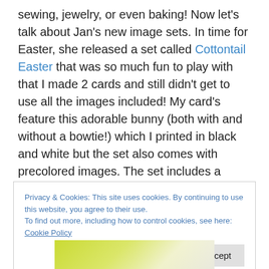sewing, jewelry, or even baking! Now let's talk about Jan's new image sets. In time for Easter, she released a set called Cottontail Easter that was so much fun to play with that I made 2 cards and still didn't get to use all the images included! My card's feature this adorable bunny (both with and without a bowtie!) which I printed in black and white but the set also comes with precolored images. The set includes a variety of Easter eggs, some plain and others with florals. I was sad I ran out of time to play with the floral eggs! Let's take a look at the cards, shall we?
Privacy & Cookies: This site uses cookies. By continuing to use this website, you agree to their use. To find out more, including how to control cookies, see here: Cookie Policy
[Figure (photo): Partially visible image at the bottom of the page showing what appears to be an Easter-themed card with yellow/green background and a bunny illustration.]